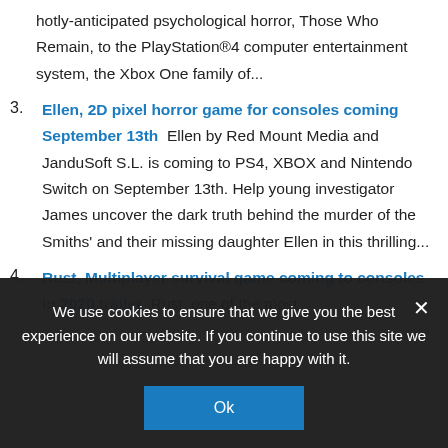hotly-anticipated psychological horror, Those Who Remain, to the PlayStation®4 computer entertainment system, the Xbox One family of...
Ellen, 2D pixel horror game for consoles coming September 13th Ellen by Red Mount Media and JanduSoft S.L. is coming to PS4, XBOX and Nintendo Switch on September 13th. Help young investigator James uncover the dark truth behind the murder of the Smiths' and their missing daughter Ellen in this thrilling...
Rust, Multiplayer survival game coming to consoles in 2020 trailer Rust, one of the most
We use cookies to ensure that we give you the best experience on our website. If you continue to use this site we will assume that you are happy with it.